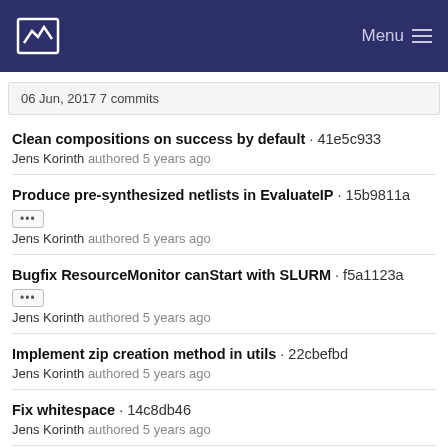Menu
06 Jun, 2017 7 commits
Clean compositions on success by default · 41e5c933
Jens Korinth authored 5 years ago
Produce pre-synthesized netlists in EvaluateIP · 15b9811a
Jens Korinth authored 5 years ago
Bugfix ResourceMonitor canStart with SLURM · f5a1123a
Jens Korinth authored 5 years ago
Implement zip creation method in utils · 22cbefbd
Jens Korinth authored 5 years ago
Fix whitespace · 14c8db46
Jens Korinth authored 5 years ago